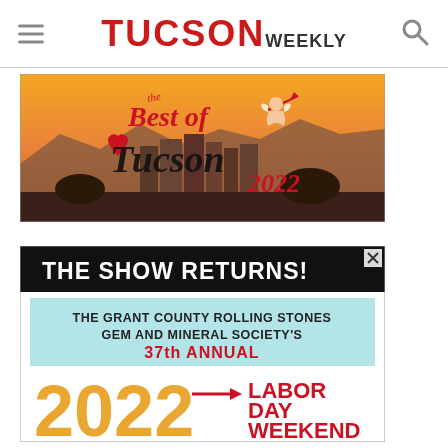TUCSON WEEKLY
[Figure (illustration): Best of Tucson 2022 advertisement banner showing Tucson skyline at sunset with decorative script text 'the Best of Tucson 2022' with heart and cupid motifs]
[Figure (illustration): Advertisement banner: 'THE SHOW RETURNS! The Grant County Rolling Stones Gem and Mineral Society's 37th Annual 2022 LABOR DAY WEEKEND' with close X button]